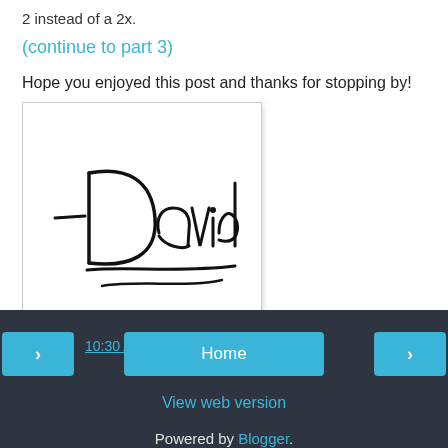2 instead of a 2x.
(continue to part 3)
Hope you enjoyed this post and thanks for stopping by!
[Figure (illustration): Handwritten signature reading '-David' in cursive script on white background]
Posted at 10:30 AM
Home | View web version | Powered by Blogger.